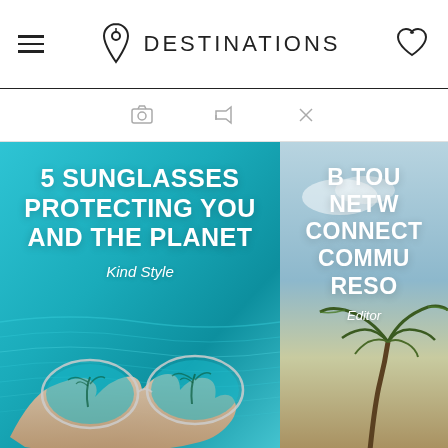DESTINATIONS
[Figure (screenshot): Toolbar with camera icon, megaphone icon, and X icon]
[Figure (photo): Left card: underwater turquoise scene with hand holding clear-frame sunglasses reflecting palm trees. Text overlay: '5 SUNGLASSES PROTECTING YOU AND THE PLANET' and 'Kind Style']
[Figure (photo): Right card (partially cropped): tropical scene with palm fronds and sky. Text overlay: 'B TOU NETW CONNECT COMMU RESO' and 'Editor']